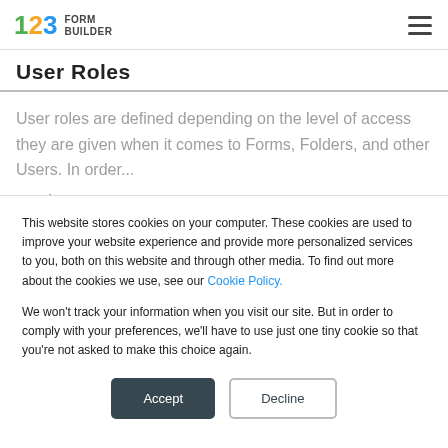123 FORM BUILDER
User Roles
User roles are defined depending on the level of access they are given when it comes to Forms, Folders, and other Users. In order...
Read more
This website stores cookies on your computer. These cookies are used to improve your website experience and provide more personalized services to you, both on this website and through other media. To find out more about the cookies we use, see our Cookie Policy.

We won't track your information when you visit our site. But in order to comply with your preferences, we'll have to use just one tiny cookie so that you're not asked to make this choice again.